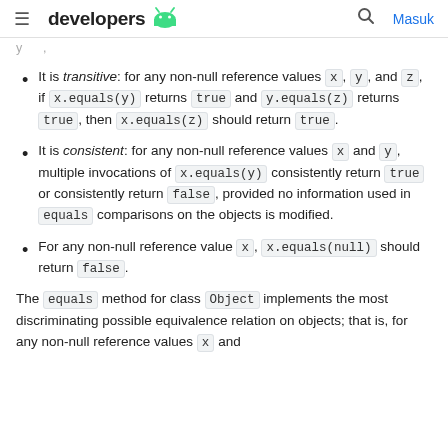developers [android logo] | [search] Masuk
It is transitive: for any non-null reference values x, y, and z, if x.equals(y) returns true and y.equals(z) returns true, then x.equals(z) should return true.
It is consistent: for any non-null reference values x and y, multiple invocations of x.equals(y) consistently return true or consistently return false, provided no information used in equals comparisons on the objects is modified.
For any non-null reference value x, x.equals(null) should return false.
The equals method for class Object implements the most discriminating possible equivalence relation on objects; that is, for any non-null reference values x and